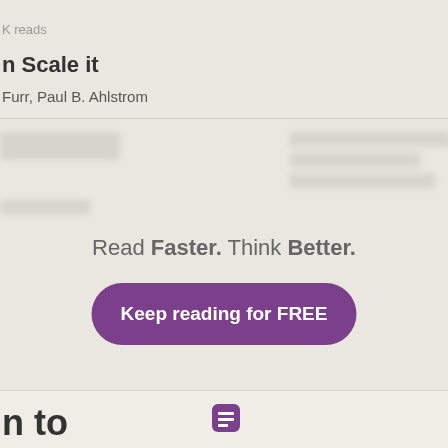K reads
n Scale it
Furr, Paul B. Ahlstrom
Read Faster. Think Better.
Keep reading for FREE
n to